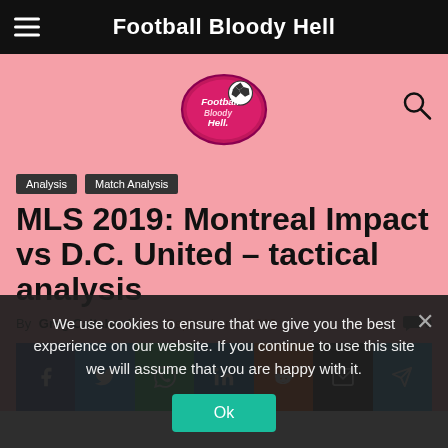Football Bloody Hell
[Figure (logo): Football Bloody Hell logo - circular badge with football and decorative text]
Analysis
Match Analysis
MLS 2019: Montreal Impact vs D.C. United – tactical analysis
By Greg Caltabanis - September 4, 2019  0
[Figure (infographic): Social share buttons: Facebook, Twitter, WhatsApp, LinkedIn, Reddit, Email, Telegram]
We use cookies to ensure that we give you the best experience on our website. If you continue to use this site we will assume that you are happy with it.